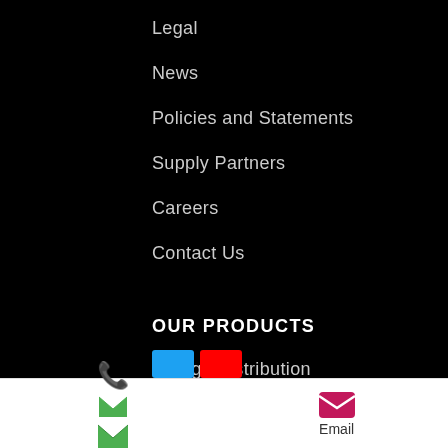Legal
News
Policies and Statements
Supply Partners
Careers
Contact Us
OUR PRODUCTS
Energy Distribution
Data Management
Railway Electrification
Rolling Stock
Phone   Email